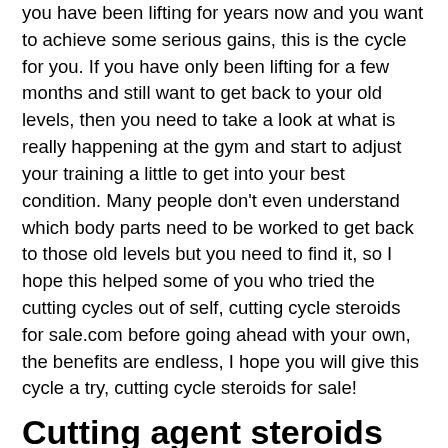you have been lifting for years now and you want to achieve some serious gains, this is the cycle for you. If you have only been lifting for a few months and still want to get back to your old levels, then you need to take a look at what is really happening at the gym and start to adjust your training a little to get into your best condition. Many people don't even understand which body parts need to be worked to get back to those old levels but you need to find it, so I hope this helped some of you who tried the cutting cycles out of self, cutting cycle steroids for sale.com before going ahead with your own, the benefits are endless, I hope you will give this cycle a try, cutting cycle steroids for sale!
Cutting agent steroids
People choose different types for different purposes: bulking steroids for building muscle performance steroids for strength and endurance cutting steroids for burning